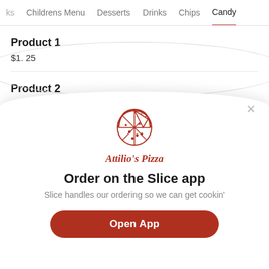ks  Childrens Menu  Desserts  Drinks  Chips  Candy
Product 1
$1. 25
Product 2
$1. 25
Pr
[Figure (logo): Attilio's Pizza logo — circular pizza slice illustration in red outline]
Attilio's Pizza
Order on the Slice app
Slice handles our ordering so we can get cookin'
Open App